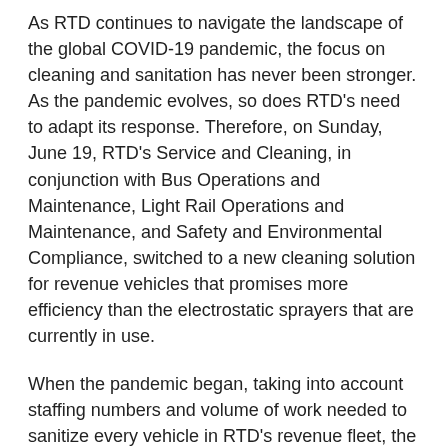As RTD continues to navigate the landscape of the global COVID-19 pandemic, the focus on cleaning and sanitation has never been stronger. As the pandemic evolves, so does RTD's need to adapt its response. Therefore, on Sunday, June 19, RTD's Service and Cleaning, in conjunction with Bus Operations and Maintenance, Light Rail Operations and Maintenance, and Safety and Environmental Compliance, switched to a new cleaning solution for revenue vehicles that promises more efficiency than the electrostatic sprayers that are currently in use.
When the pandemic began, taking into account staffing numbers and volume of work needed to sanitize every vehicle in RTD's revenue fleet, the cleaning teams purchased electrostatic sprayers, which would allow the sanitation teams to effectively clean an entire vehicle in five minutes or less. At the time, this was the most effective and efficient way to clean each vehicle before they began their service day. However, as time went on, more people emerged from the height of the pandemic to return to work, school and getting on with their day-to-day lives. Naturally, this led to more customers returning to public transportation, filling up once-empty buses and trains, and a